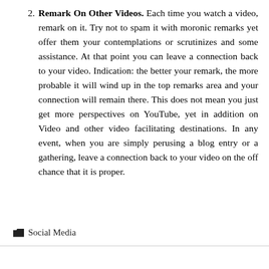2. Remark On Other Videos. Each time you watch a video, remark on it. Try not to spam it with moronic remarks yet offer them your contemplations or scrutinizes and some assistance. At that point you can leave a connection back to your video. Indication: the better your remark, the more probable it will wind up in the top remarks area and your connection will remain there. This does not mean you just get more perspectives on YouTube, yet in addition on Video and other video facilitating destinations. In any event, when you are simply perusing a blog entry or a gathering, leave a connection back to your video on the off chance that it is proper.
Social Media